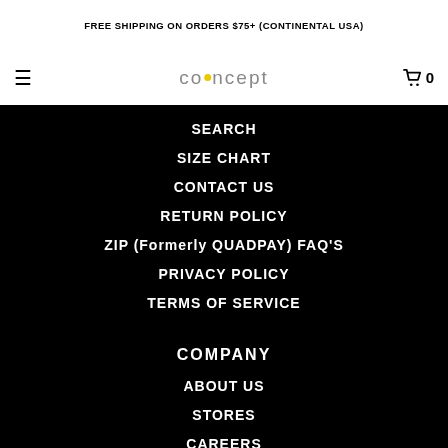FREE SHIPPING ON ORDERS $75+ (CONTINENTAL USA)
[Figure (logo): co•ncept brand logo with yellow dot, hamburger menu icon on left, cart icon with 0 on right]
SEARCH
SIZE CHART
CONTACT US
RETURN POLICY
ZIP (Formerly QUADPAY) FAQ'S
PRIVACY POLICY
TERMS OF SERVICE
COMPANY
ABOUT US
STORES
CAREERS